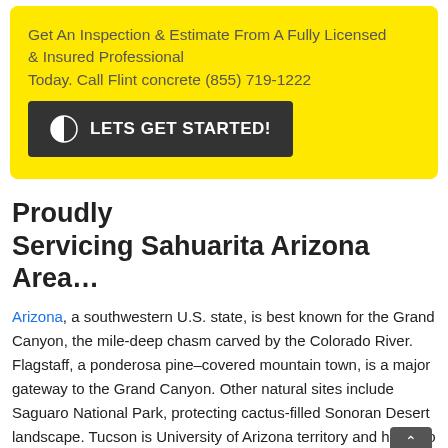Get An Inspection & Estimate From A Fully Licensed & Insured Professional
Today. Call Flint concrete (855) 719-1222
LETS GET STARTED!
Proudly Servicing Sahuarita Arizona Area…
Arizona, a southwestern U.S. state, is best known for the Grand Canyon, the mile-deep chasm carved by the Colorado River. Flagstaff, a ponderosa pine–covered mountain town, is a major gateway to the Grand Canyon. Other natural sites include Saguaro National Park, protecting cactus-filled Sonoran Desert landscape. Tucson is University of Arizona territory and home to the Arizona-Sonora Desert Museum.